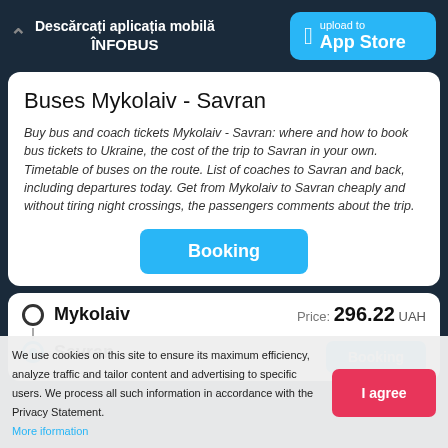Descărcați aplicația mobilă ÎNFOBUS
Buses Mykolaiv - Savran
Buy bus and coach tickets Mykolaiv - Savran: where and how to book bus tickets to Ukraine, the cost of the trip to Savran in your own. Timetable of buses on the route. List of coaches to Savran and back, including departures today. Get from Mykolaiv to Savran cheaply and without tiring night crossings, the passengers comments about the trip.
Booking
Mykolaiv  Price: 296.22 UAH
Savran  Booking
We use cookies on this site to ensure its maximum efficiency, analyze traffic and tailor content and advertising to specific users. We process all such information in accordance with the Privacy Statement.
More information
I agree